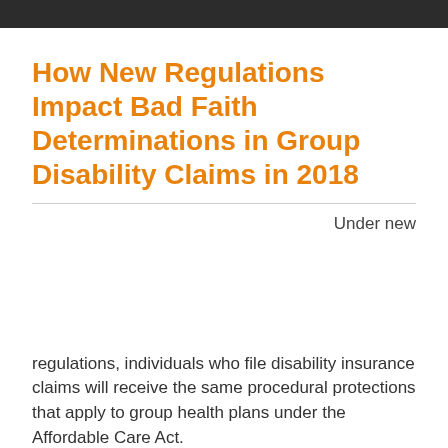How New Regulations Impact Bad Faith Determinations in Group Disability Claims in 2018
Under new
regulations, individuals who file disability insurance claims will receive the same procedural protections that apply to group health plans under the Affordable Care Act.